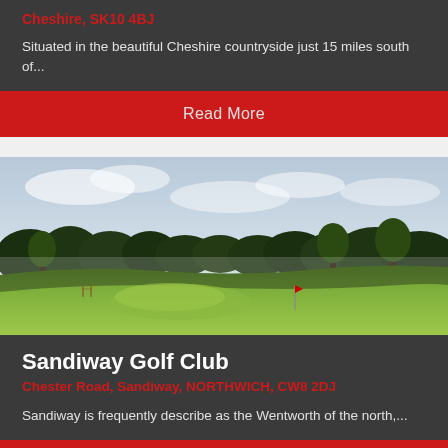Cheshire, SK10 4BJ
Situated in the beautiful Cheshire countryside just 15 miles south of...
Read More
[Figure (photo): Golf course fairway with mist, trees in background, green grass]
Sandiway Golf Club
Chester Road, Sandiway, NORTHWICH, CW8 2DJ
Sandiway is frequently describe as the Wentworth of the north,...